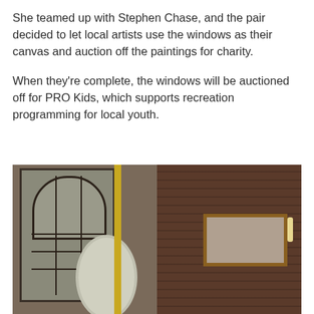She teamed up with Stephen Chase, and the pair decided to let local artists use the windows as their canvas and auction off the paintings for charity.
When they're complete, the windows will be auctioned off for PRO Kids, which supports recreation programming for local youth.
[Figure (photo): Photo showing old window frames leaning against a brick wall on the left side, including a large arched multi-pane window, a smaller oval window, and a yellow strip, with the right side showing a red brick wall with a rectangular mirror mounted on it flanked by light fixtures.]